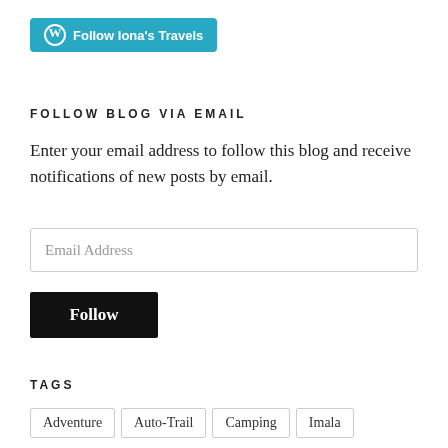[Figure (other): WordPress Follow button — cyan/teal rounded button with WordPress logo icon and text 'Follow Iona's Travels']
FOLLOW BLOG VIA EMAIL
Enter your email address to follow this blog and receive notifications of new posts by email.
Email Address
Follow
TAGS
Adventure
Auto-Trail
Camping
Imala